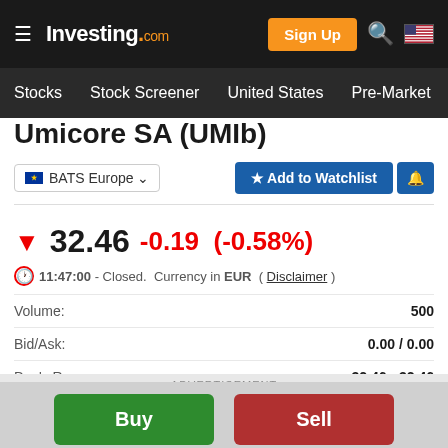Investing.com — Stocks | Stock Screener | United States | Pre-Market
Umicore SA (UMIb)
BATS Europe
Add to Watchlist
▼ 32.46  -0.19  (-0.58%)
11:47:00 - Closed.  Currency in EUR  ( Disclaimer )
| Label | Value |
| --- | --- |
| Volume: | 500 |
| Bid/Ask: | 0.00 / 0.00 |
| Day's Range: | 32.46 - 32.46 |
ADVERTISEMENT
Buy
Sell
| AD |